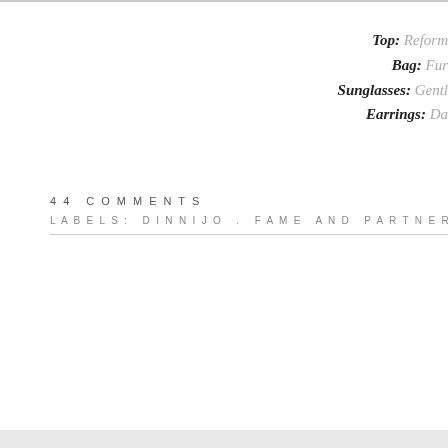Top: Reform
Bag: Fur
Sunglasses: Gentl
Earrings: Da
44 COMMENTS
LABELS: DINNIJO . FAME AND PARTNERS . FURLA . GE